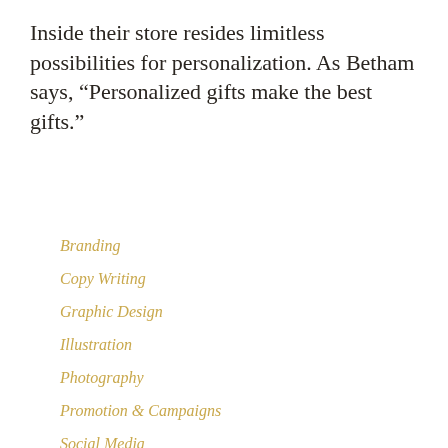Inside their store resides limitless possibilities for personalization. As Betham says, “Personalized gifts make the best gifts.”
Branding
Copy Writing
Graphic Design
Illustration
Photography
Promotion & Campaigns
Social Media